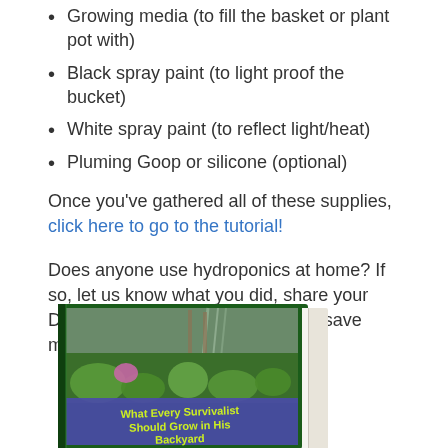Growing media (to fill the basket or plant pot with)
Black spray paint (to light proof the bucket)
White spray paint (to reflect light/heat)
Pluming Goop or silicone (optional)
Once you've gathered all of these supplies, click here to go to the tutorial!
Does anyone use hydroponics at home? If so, let us know what you did, share your DIY tips, or comment with ways to save money for those just beginning!
[Figure (photo): Book cover showing a lush garden with green and flowering plants. Title reads: What Every Survivalist Should Grow in His Backyard. Text in yellow-green on a blue/purple background.]